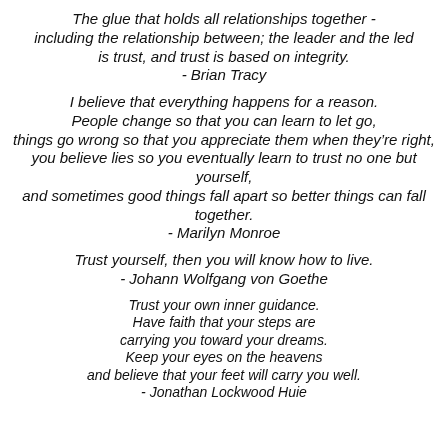The glue that holds all relationships together - including the relationship between; the leader and the led is trust, and trust is based on integrity. - Brian Tracy
I believe that everything happens for a reason. People change so that you can learn to let go, things go wrong so that you appreciate them when they’re right, you believe lies so you eventually learn to trust no one but yourself, and sometimes good things fall apart so better things can fall together. - Marilyn Monroe
Trust yourself, then you will know how to live. - Johann Wolfgang von Goethe
Trust your own inner guidance. Have faith that your steps are carrying you toward your dreams. Keep your eyes on the heavens and believe that your feet will carry you well. - Jonathan Lockwood Huie